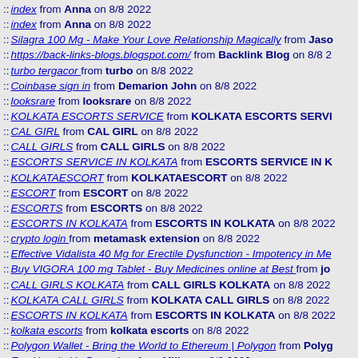:: index from Anna on 8/8 2022
:: index from Anna on 8/8 2022
:: Silagra 100 Mg - Make Your Love Relationship Magically from Jaso
:: https://back-links-blogs.blogspot.com/ from Backlink Blog on 8/8 2
:: turbo tergacor from turbo on 8/8 2022
:: Coinbase sign in from Demarion John on 8/8 2022
:: looksrare from looksrare on 8/8 2022
:: KOLKATA ESCORTS SERVICE from KOLKATA ESCORTS SERVI
:: CAL GIRL from CAL GIRL on 8/8 2022
:: CALL GIRLS from CALL GIRLS on 8/8 2022
:: ESCORTS SERVICE IN KOLKATA from ESCORTS SERVICE IN K
:: KOLKATAESCORT from KOLKATAESCORT on 8/8 2022
:: ESCORT from ESCORT on 8/8 2022
:: ESCORTS from ESCORTS on 8/8 2022
:: ESCORTS IN KOLKATA from ESCORTS IN KOLKATA on 8/8 2022
:: crypto login from metamask extension on 8/8 2022
:: Effective Vidalista 40 Mg for Erectile Dysfunction - Impotency in Me
:: Buy VIGORA 100 mg Tablet - Buy Medicines online at Best from jo
:: CALL GIRLS KOLKATA from CALL GIRLS KOLKATA on 8/8 2022
:: KOLKATA CALL GIRLS from KOLKATA CALL GIRLS on 8/8 2022
:: ESCORTS IN KOLKATA from ESCORTS IN KOLKATA on 8/8 2022
:: kolkata escorts from kolkata escorts on 8/8 2022
:: Polygon Wallet - Bring the World to Ethereum | Polygon from Polyg
:: Eye Hospital in Bangalore from Miller on 8/8 2022
:: Polygon wallet from Polygon wallet on 8/8 2022
:: jaipur from jaipur on 8/8 2022
:: Looks Rare from mariya jones on 8/8 2022
:: Today News from Sol on 8/8 2022
:: High Class Escort Service in Bangalore from Escort Service in Ba
:: cort Service and Call Girls in Hyderabad from Escortagency Hyde